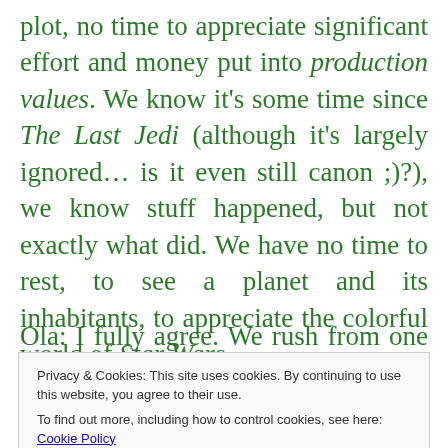plot, no time to appreciate significant effort and money put into production values. We know it's some time since The Last Jedi (although it's largely ignored… is it even still canon ;)?), we know stuff happened, but not exactly what did. We have no time to rest, to see a planet and its inhabitants, to appreciate the colorful world of Star Wars.
Ola: I fully agree. We rush from one world to
Privacy & Cookies: This site uses cookies. By continuing to use this website, you agree to their use. To find out more, including how to control cookies, see here: Cookie Policy
considered canon… I know it's a tiny (ha ha,